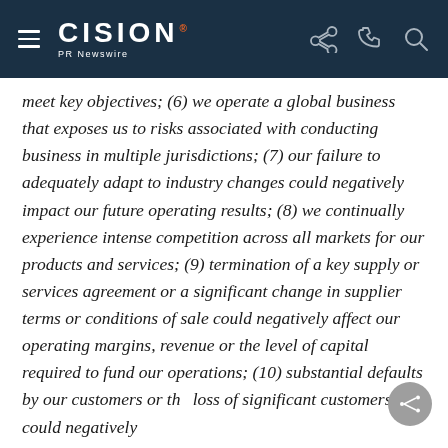CISION PR Newswire
meet key objectives; (6) we operate a global business that exposes us to risks associated with conducting business in multiple jurisdictions; (7) our failure to adequately adapt to industry changes could negatively impact our future operating results; (8) we continually experience intense competition across all markets for our products and services; (9) termination of a key supply or services agreement or a significant change in supplier terms or conditions of sale could negatively affect our operating margins, revenue or the level of capital required to fund our operations; (10) substantial defaults by our customers or the loss of significant customers could negatively